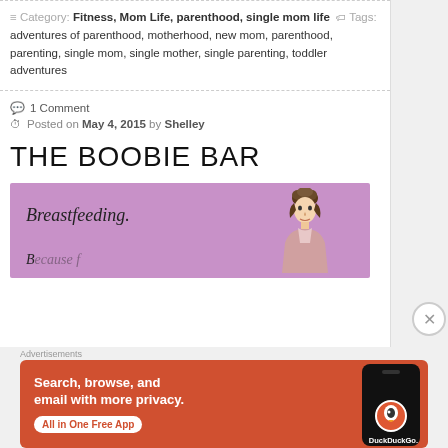≡ Category: Fitness, Mom Life, parenthood, single mom life  🏷 Tags: adventures of parenthood, motherhood, new mom, parenthood, parenting, single mom, single mother, single parenting, toddler adventures
💬 1 Comment
⏱ Posted on May 4, 2015 by Shelley
THE BOOBIE BAR
[Figure (illustration): Purple/mauve background banner image with italic text 'Breastfeeding.' on the left and a vintage illustration of a woman with an upswept hairstyle on the right.]
Advertisements
[Figure (screenshot): DuckDuckGo advertisement banner with orange background. Text: 'Search, browse, and email with more privacy. All in One Free App'. Shows smartphone with DuckDuckGo app and logo.]